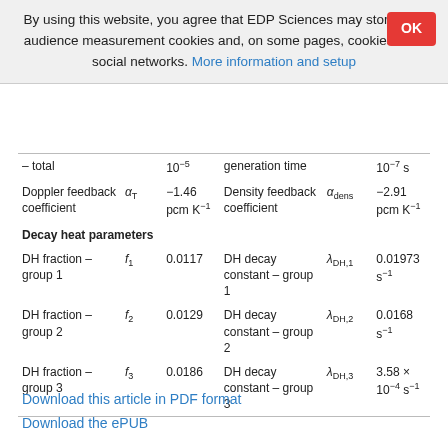By using this website, you agree that EDP Sciences may store web audience measurement cookies and, on some pages, cookies from social networks. More information and setup
| – total |  | 10⁻⁵ | generation time |  | 10⁻⁷ s |
| Doppler feedback coefficient | α_T | −1.46 pcm K⁻¹ | Density feedback coefficient | α_dens | −2.91 pcm K⁻¹ |
| Decay heat parameters |  |  |  |  |  |
| DH fraction – group 1 | f₁ | 0.0117 | DH decay constant – group 1 | λ_DH,1 | 0.01973 s⁻¹ |
| DH fraction – group 2 | f₂ | 0.0129 | DH decay constant – group 2 | λ_DH,2 | 0.0168 s⁻¹ |
| DH fraction – group 3 | f₃ | 0.0186 | DH decay constant – group 3 | λ_DH,3 | 3.58 × 10⁻⁴ s⁻¹ |
Download this article in PDF format
Download the ePUB